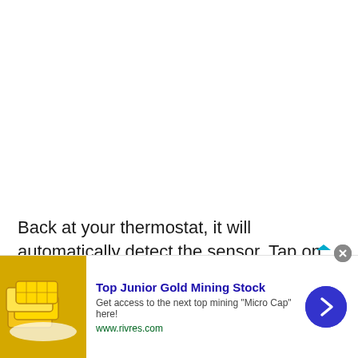Back at your thermostat, it will automatically detect the sensor. Tap on “Yes” to connect it.
[Figure (other): Advertisement banner for Top Junior Gold Mining Stock. Shows gold bars image on left, bold blue title text, description text, green URL www.rivres.com, blue circular arrow button on right, and a close (X) button.]